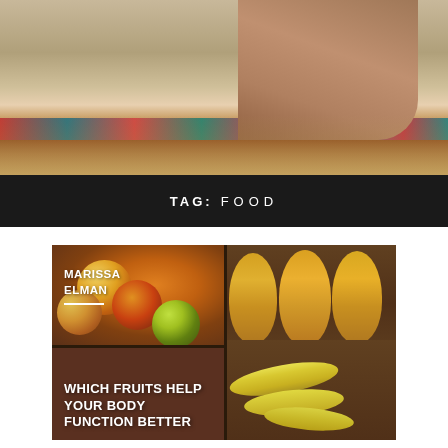[Figure (photo): Person doing yoga or stretching on colorful patterned blanket/mat on sandy ground, seen from above]
TAG: FOOD
[Figure (photo): Collage of fruits in wooden box: apples/mangoes top left, pineapples top right, bananas bottom right. Overlaid with author name MARISSA ELMAN and article title WHICH FRUITS HELP YOUR BODY FUNCTION BETTER]
MARISSA ELMAN
WHICH FRUITS HELP YOUR BODY FUNCTION BETTER